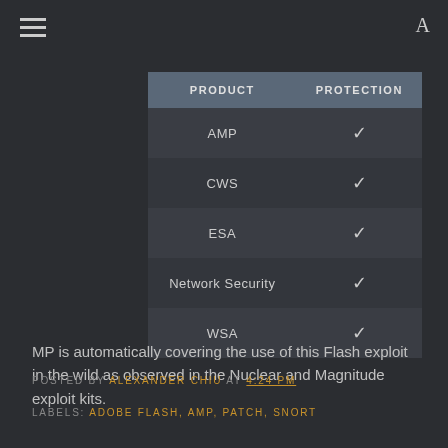| PRODUCT | PROTECTION |
| --- | --- |
| AMP | ✓ |
| CWS | ✓ |
| ESA | ✓ |
| Network Security | ✓ |
| WSA | ✓ |
MP is automatically covering the use of this Flash exploit in the wild as observed in the Nuclear and Magnitude exploit kits.
POSTED BY ALEXANDER CHIU AT 4:24 PM
LABELS: ADOBE FLASH, AMP, PATCH, SNORT